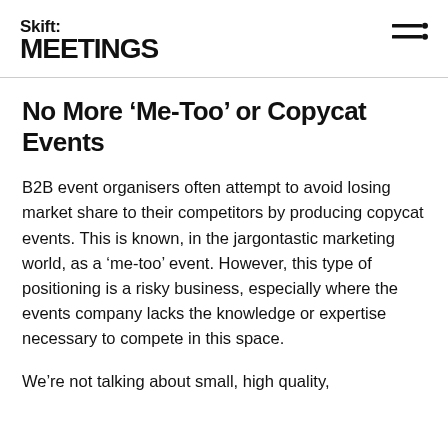Skift: MEETINGS
No More ‘Me-Too’ or Copycat Events
B2B event organisers often attempt to avoid losing market share to their competitors by producing copycat events. This is known, in the jargontastic marketing world, as a ‘me-too’ event. However, this type of positioning is a risky business, especially where the events company lacks the knowledge or expertise necessary to compete in this space.
We’re not talking about small, high quality,